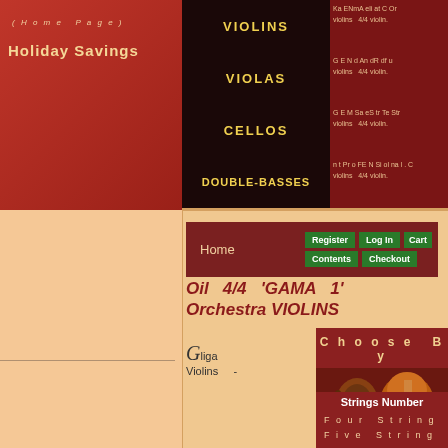(Home Page)
Holiday Savings
VIOLINS
VIOLAS
CELLOS
DOUBLE-BASSES
Home | Register | Log In | Cart | Contents | Checkout
Oil 4/4 'GAMA 1' Orchestra VIOLINS
Gliga Violins -
Choose By
[Figure (photo): Violin scroll and body detail image]
Strings Number
Four String
Five String